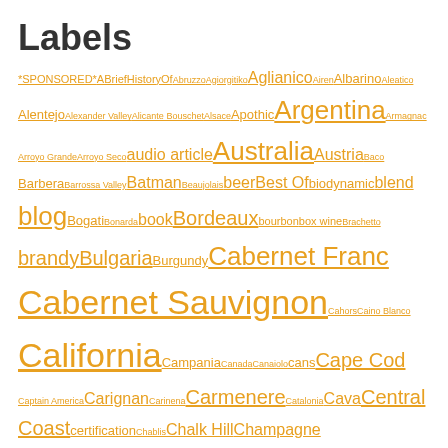Labels
*SPONSORED* ABriefHistoryOf Abruzzo Agiorgitiko Aglianico Airen Albarino Aleatico Alentejo Alexander Valley Alicante Bouschet Alsace Apothic Argentina Armagnac Arroyo Grande Arroyo Seco audio article Australia Austria Baco Barbera Barrossa Valley Batman Beaujolais beer Best Of biodynamic blend blog Bogati Bonarda book Bordeaux bourbon box wine Brachetto brandy Bulgaria Burgundy Cabernet Franc Cabernet Sauvignon Cahors Caino Blanco California Campania Canada Canaiolo cans Cape Cod Captain America Carignan Carinena Carmenere Catalonia Cava Central Coast certification Chablis Chalk Hill Champagne Chardonnay cheese Chenin Blanc Chianti Chile China cider Cinsault Clarksburg cocktails Cognac Colombard Columbia Valley comics Cotes-du-Rhone Counoise Croatia CSW Dane Cellars DC dessert wine Distill Wars Dona Blanco Douro Dry Creek Dunnigan Hills Edna Valley Falanghina February Fer Servadou Fiano Finger Lakes Folle Blanche formulas France Franciacorta Frankovka Frappato Furmint Galicia Galilee Gamay Garganega Gascony Germany Gewurtztraminer gin Glera Godello Graciano Greece Grenache Grenache Blanc Grillo Gros Manseng Gruner Veltliner GSM guest blog Heroes history horror how to Hungary interview Israel Italy Japan Jerez Kansas kosher Lambrusco Languedoc-Roussillon Left Coast Leyda Valley Lisboa Livermore Lodi Loire Loureira love letter Macon Madeira Madiran Malbec Malvasia Marcillac Marlborough Marsanne Marselan Marvel Massachusetts Matchbook Mavrud Mazuelo McLaren Vale mead Melnik Mencia Mendocino Mendoza Meritage Merlot Mexico Michigan mixology Monbazillac Monstant Montecucco Montepulciano Monterey Montery Moscato Mosel Mourvédre